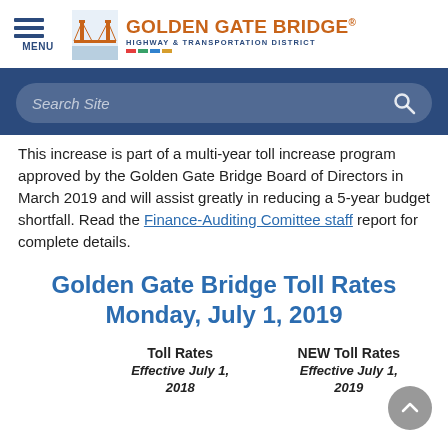[Figure (logo): Golden Gate Bridge Highway & Transportation District logo with orange bridge illustration and stylized text]
[Figure (screenshot): Search site input box with magnifying glass icon on dark blue navigation bar background]
This increase is part of a multi-year toll increase program approved by the Golden Gate Bridge Board of Directors in March 2019 and will assist greatly in reducing a 5-year budget shortfall. Read the Finance-Auditing Comittee staff report for complete details.
Golden Gate Bridge Toll Rates Monday, July 1, 2019
| Toll Rates Effective July 1, 2018 | NEW Toll Rates Effective July 1, 2019 |
| --- | --- |